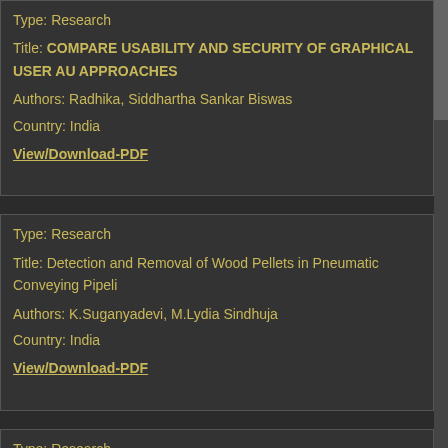Type: Research
Title: COMPARE USABILITY AND SECURITY OF GRAPHICAL USER AU APPROACHES
Authors: Radhika, Siddhartha Sankar Biswas
Country: India
View/Download-PDF
Type: Research
Title: Detection and Removal of Wood Pellets in Pneumatic Conveying Pipeli
Authors: K.Suganyadevi, M.Lydia Sindhuja
Country: India
View/Download-PDF
Type: Research
Title: Orchestration Of Software-Defined Application Delivery Networks u Architecture
Authors: Raghuram.P, G. Praveen Babu
Country: India